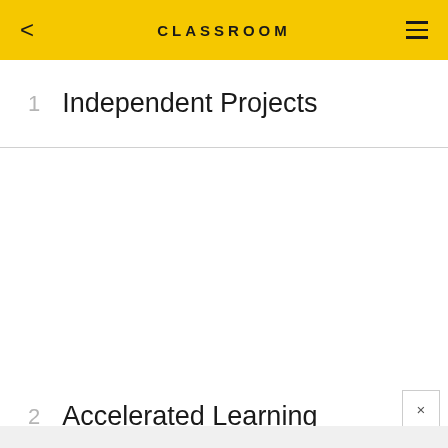CLASSROOM
1  Independent Projects
2  Accelerated Learning